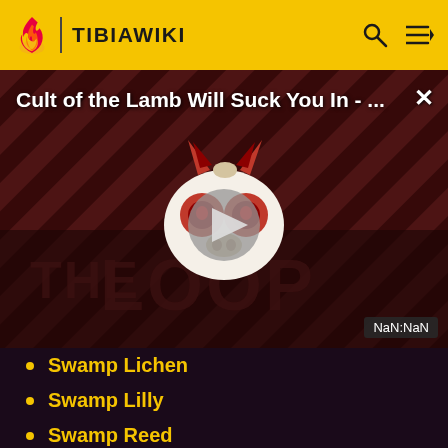TIBIAWIKI
[Figure (screenshot): Video advertisement thumbnail for 'Cult of the Lamb Will Suck You In - ...' with a play button overlay, cartoon monster mascot, 'THE LOOP' text in background, striped dark red pattern, close X button, and NaN:NaN timer badge]
Swamp Lichen
Swamp Lilly
Swamp Reed
Swamp Tentacles
Sycamore